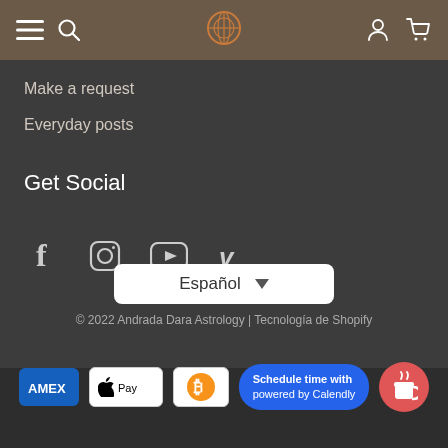Navigation bar with menu, search, logo, account and cart icons
Make a request
Everyday posts
Get Social
[Figure (infographic): Social media icons: Facebook (f), Instagram, YouTube, Vimeo (v)]
[Figure (other): Language selector dropdown showing 'Español']
© 2022 Andrada Dara Astrology | Tecnología de Shopify
[Figure (infographic): Payment method icons: AMEX, Apple Pay, Bitcoin]
Schedule time with powered by Calendly